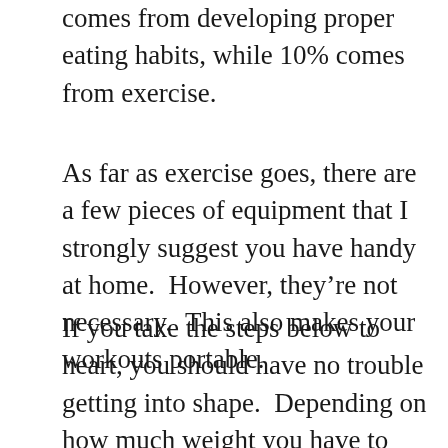comes from developing proper eating habits, while 10% comes from exercise.
As far as exercise goes, there are a few pieces of equipment that I strongly suggest you have handy at home.  However, they're not necessary.  This also makes your workouts portable.
If you take the steps below to heart, you should have no trouble getting into shape.  Depending on how much weight you have to lose, (or gain), it could take as little as 3 months to see some very significant results. For the…